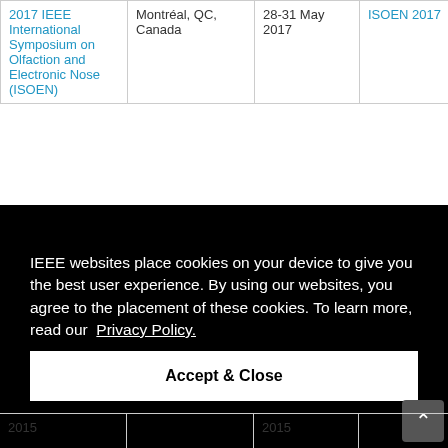| Conference Name | Location | Date | Abbreviation |
| --- | --- | --- | --- |
| 2017 IEEE International Symposium on Olfaction and Electronic Nose (ISOEN) | Montréal, QC, Canada | 28-31 May 2017 | ISOEN 2017 |
| 2015 |  | 2015 |  |
IEEE websites place cookies on your device to give you the best user experience. By using our websites, you agree to the placement of these cookies. To learn more, read our Privacy Policy.
Accept & Close